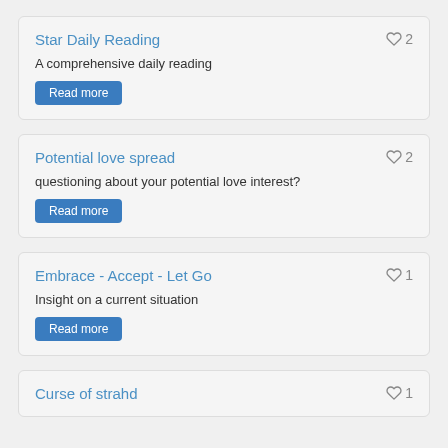Star Daily Reading
A comprehensive daily reading
Read more
Potential love spread
questioning about your potential love interest?
Read more
Embrace - Accept - Let Go
Insight on a current situation
Read more
Curse of strahd